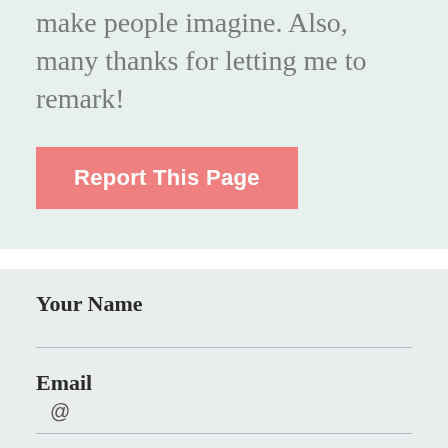make people imagine. Also, many thanks for letting me to remark!
Report This Page
Your Name
Email
@
Comment
Enter your comment...